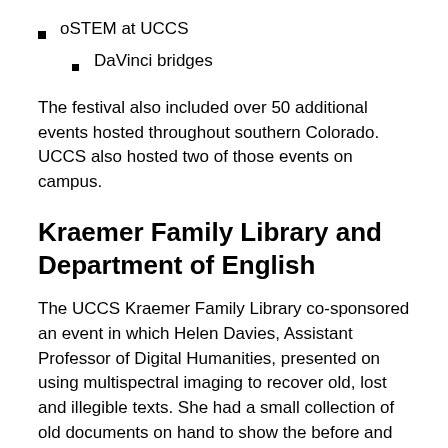oSTEM at UCCS
DaVinci bridges
The festival also included over 50 additional events hosted throughout southern Colorado. UCCS also hosted two of those events on campus.
Kraemer Family Library and Department of English
The UCCS Kraemer Family Library co-sponsored an event in which Helen Davies, Assistant Professor of Digital Humanities, presented on using multispectral imaging to recover old, lost and illegible texts. She had a small collection of old documents on hand to show the before and after of the physical vs digital objects. A group of students presented their own projects in which they recovered a diary showing the journey from Ireland to Ellis Island, one of the earliest law codes in Colorado and some medieval